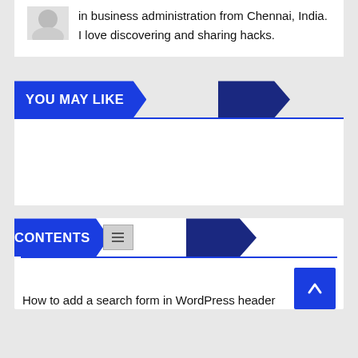in business administration from Chennai, India. I love discovering and sharing hacks.
YOU MAY LIKE
CONTENTS
How to add a search form in WordPress header